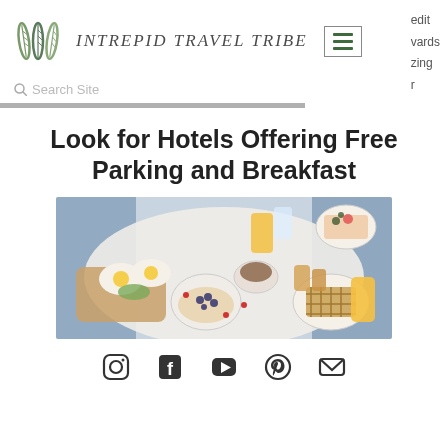Intrepid Travel Tribe
Search Site
Look for Hotels Offering Free Parking and Breakfast
[Figure (photo): Overhead view of a breakfast spread with fried eggs on toast, waffles, fruit, orange juice, and coffee on a white tablecloth]
[Figure (other): Social media icons row: Instagram, Facebook, YouTube, Pinterest, Email]